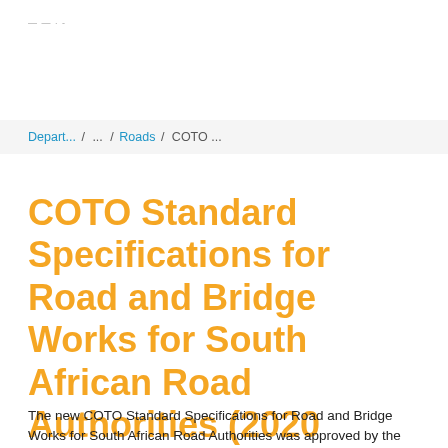— — · -
Depart... / ... / Roads / COTO ...
COTO Standard Specifications for Road and Bridge Works for South African Road Authorities (2020 Edition)
The new COTO Standard Specifications for Road and Bridge Works for South African Road Authorities was approved by the Committee of Transport Officials (COTO) on 18 August 2020 as